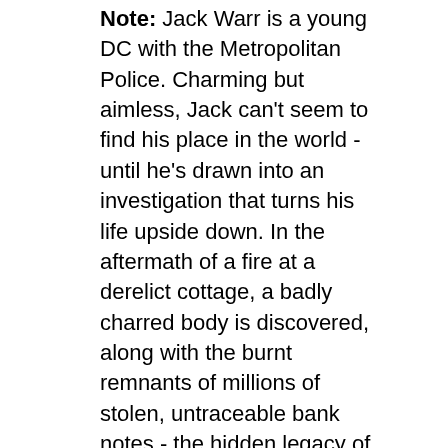Note: Jack Warr is a young DC with the Metropolitan Police. Charming but aimless, Jack can't seem to find his place in the world - until he's drawn into an investigation that turns his life upside down. In the aftermath of a fire at a derelict cottage, a badly charred body is discovered, along with the burnt remnants of millions of stolen, untraceable bank notes - the hidden legacy of Dolly Rawlins and her gang of Widows. Jack's assignment to the case coincides with an investigation into his own past. As he searches for the truth about his identity, Jack finds himself increasingly drawn into a murky underworld of corruption